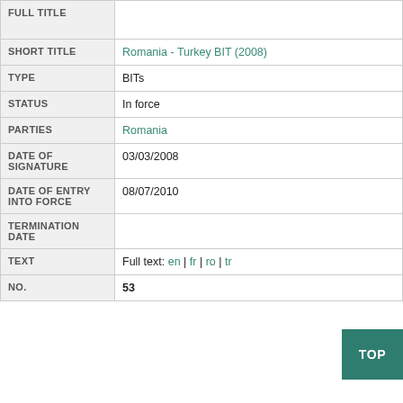| Field | Value |
| --- | --- |
| FULL TITLE |  |
| SHORT TITLE | Romania - Turkey BIT (2008) |
| TYPE | BITs |
| STATUS | In force |
| PARTIES | Romania |
| DATE OF SIGNATURE | 03/03/2008 |
| DATE OF ENTRY INTO FORCE | 08/07/2010 |
| TERMINATION DATE |  |
| TEXT | Full text: en | fr | ro | tr |
| NO. | 53 |